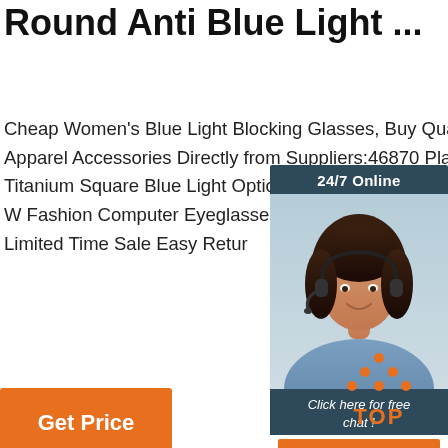Round Anti Blue Light ...
Cheap Women's Blue Light Blocking Glasses, Buy Quality Apparel Accessories Directly from Suppliers:46870 Plastic Titanium Square Blue Light Optical Glasses Frames Men Women Fashion Computer Eyeglasses Enjoy Free Worldwide! Limited Time Sale Easy Return
[Figure (infographic): Customer service chat widget with '24/7 Online' header, photo of woman with headset, 'Click here for free chat!' text, and orange QUOTATION button]
[Figure (other): Orange 'TOP' button with upward arrow dots icon]
Get Price